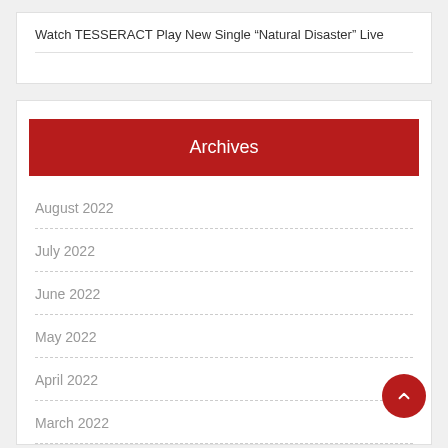Watch TESSERACT Play New Single “Natural Disaster” Live
Archives
August 2022
July 2022
June 2022
May 2022
April 2022
March 2022